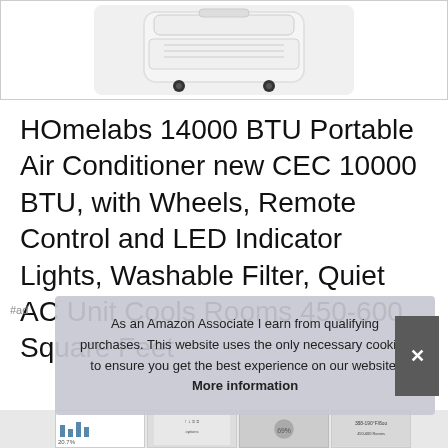[Figure (photo): White portable air conditioner unit with wheels visible at bottom, white casing, top portion of unit shown against white background with border]
HOmelabs 14000 BTU Portable Air Conditioner new CEC 10000 BTU, with Wheels, Remote Control and LED Indicator Lights, Washable Filter, Quiet AC Unit Cools Rooms 450-600 Square Feet
As an Amazon Associate I earn from qualifying purchases. This website uses the only necessary cookies to ensure you get the best experience on our website. More information
[Figure (screenshot): Bottom strip showing thumbnail images including a small chart, product images, and text snippets at the bottom of the page]